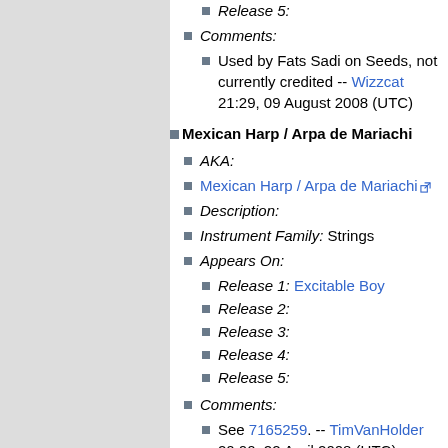Release 5:
Comments:
Used by Fats Sadi on Seeds, not currently credited -- Wizzcat 21:29, 09 August 2008 (UTC)
Mexican Harp / Arpa de Mariachi
AKA:
Mexican Harp / Arpa de Mariachi [external link]
Description:
Instrument Family: Strings
Appears On:
Release 1: Excitable Boy
Release 2:
Release 3:
Release 4:
Release 5:
Comments:
See 7165259. -- TimVanHolder 20:00, 22 April 2008 (UTC)